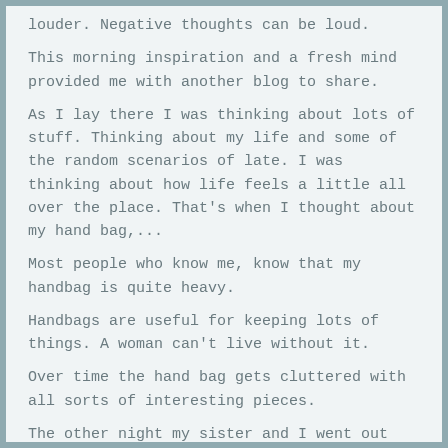louder. Negative thoughts can be loud.
This morning inspiration and a fresh mind provided me with another blog to share.
As I lay there I was thinking about lots of stuff. Thinking about my life and some of the random scenarios of late. I was thinking about how life feels a little all over the place. That's when I thought about my hand bag,...
Most people who know me, know that my handbag is quite heavy.
Handbags are useful for keeping lots of things. A woman can't live without it.
Over time the hand bag gets cluttered with all sorts of interesting pieces.
The other night my sister and I went out dancing. Occasionally we go out for some de-stressing.